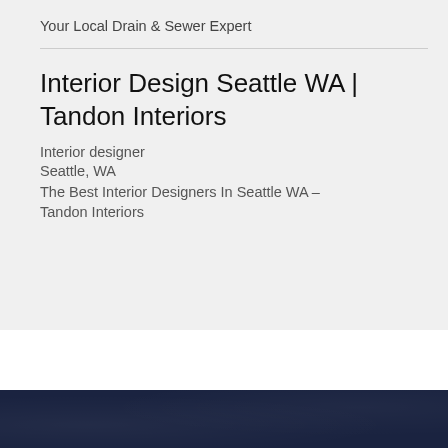Your Local Drain & Sewer Expert
Interior Design Seattle WA | Tandon Interiors
Interior designer
Seattle, WA
The Best Interior Designers In Seattle WA – Tandon Interiors